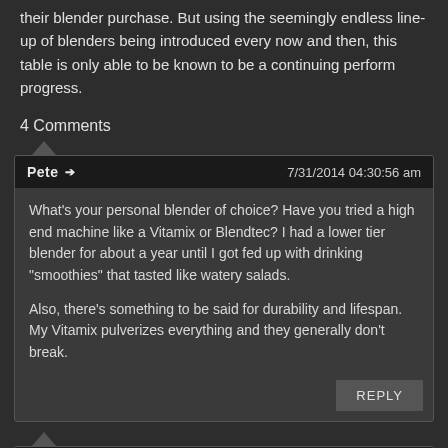their blender purchase. But using the seemingly endless line-up of blenders being introduced every now and then, this table is only able to be known to be a continuing perform progress.
4 Comments
Pete → 7/31/2014 04:30:56 am
What's your personal blender of choice? Have you tried a high end machine like a Vitamix or Blendtec? I had a lower tier blender for about a year until I got fed up with drinking "smoothies" that tasted like watery salads.

Also, there's something to be said for durability and lifespan. My Vitamix pulverizes everything and they generally don't break.
TheBest → 6/27/2015 12:44:41 am